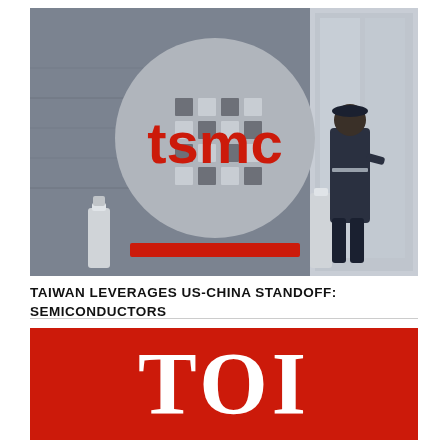[Figure (photo): TSMC corporate logo on building exterior with a security guard walking past. The TSMC logo features red text on a circular gray wafer-patterned background. A red horizontal bar is below the circle logo. The building wall is gray.]
TAIWAN LEVERAGES US-CHINA STANDOFF: SEMICONDUCTORS
[Figure (logo): Times of India (TOI) logo — large white serif letters 'TOI' on a solid red background.]